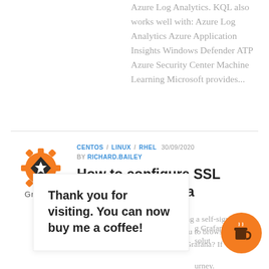Azure Log Analytics. KQL also works well with: Azure Log Analytics Azure Application Insights Windows Defender ATP Azure Security Center Machine Learning Microsoft provides...
[Figure (logo): Grafana logo - orange gear with star and dark diamond shape, with 'Grafana' text below]
CENTOS / LINUX / RHEL  30/09/2020  BY RICHARD.BAILEY
How to configure SSL HTTPS in Grafana
Here is a quick guide to configuring a self-signed SSL certificate in Grafana, allowing you to browse to: https://your_server:3000 What is Grafana? If
Thank you for visiting. You can now buy me a coffee!